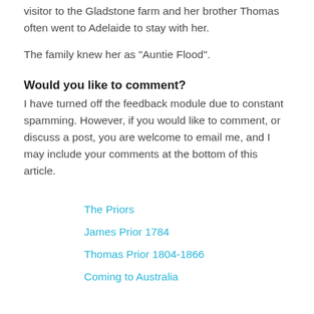visitor to the Gladstone farm and her brother Thomas often went to Adelaide to stay with her.
The family knew her as "Auntie Flood".
Would you like to comment?
I have turned off the feedback module due to constant spamming. However, if you would like to comment, or discuss a post, you are welcome to email me, and I may include your comments at the bottom of this article.
The Priors
James Prior 1784
Thomas Prior 1804-1866
Coming to Australia